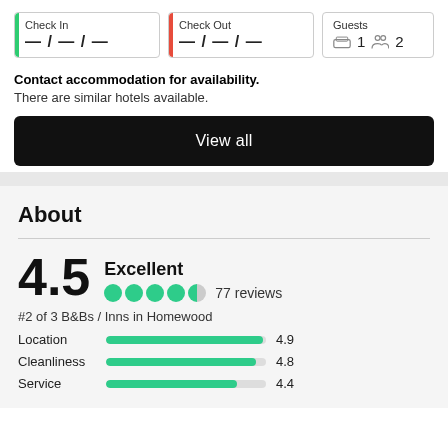Check In — / — / —
Check Out — / — / —
Guests 1 2
Contact accommodation for availability. There are similar hotels available.
View all
About
4.5 Excellent 77 reviews
#2 of 3 B&Bs / Inns in Homewood
Location 4.9
Cleanliness 4.8
Service 4.4